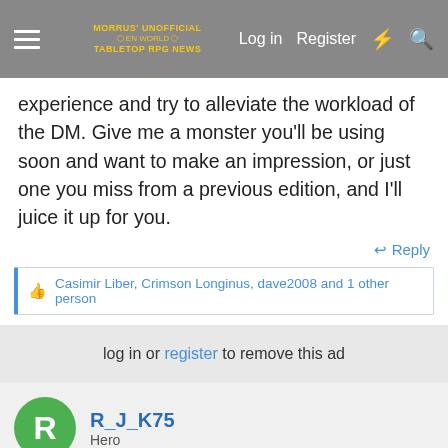Morrus' Unofficial Tabletop RPG News — Log in   Register
experience and try to alleviate the workload of the DM. Give me a monster you'll be using soon and want to make an impression, or just one you miss from a previous edition, and I'll juice it up for you.
↩ Reply
👍 Casimir Liber, Crimson Longinus, dave2008 and 1 other person
log in or register to remove this ad
R_J_K75
Hero
May 6, 2022
#2
The Assassin Imp from 2E.